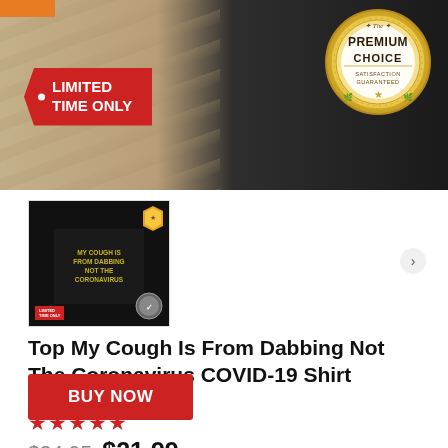[Figure (photo): Product banner showing a dark sweatshirt/hoodie against a stone wall background, with a red 'LIMITED TIME ONLY' tag on the left and a gold 'The PREMIUM CHOICE SATISFACTION GUARANTEED' badge on the right. An orange tab is visible at the top left.]
[Figure (photo): Thumbnail image of a black t-shirt with yellow text reading 'MY COUGH IS FROM DABBING NOT THE CORONAVIRUS', with a red LIMITED TIME ONLY label at bottom left and a small badge at top right.]
Top My Cough Is From Dabbing Not The Coronavirus COVID-19 Shirt
★★★★★
$24.95  $21.99
BUY NOW